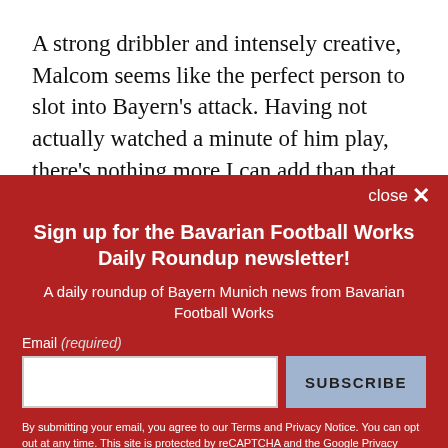A strong dribbler and intensely creative, Malcom seems like the perfect person to slot into Bayern's attack. Having not actually watched a minute of him play, there's nothing more I can add than that. However, it's worth noting that Bayern's recent record with Brazilian...
close ✕
Sign up for the Bavarian Football Works Daily Roundup newsletter!
A daily roundup of Bayern Munich news from Bavarian Football Works
Email (required)
SUBSCRIBE
By submitting your email, you agree to our Terms and Privacy Notice. You can opt out at any time. This site is protected by reCAPTCHA and the Google Privacy Policy and Terms of Service apply.